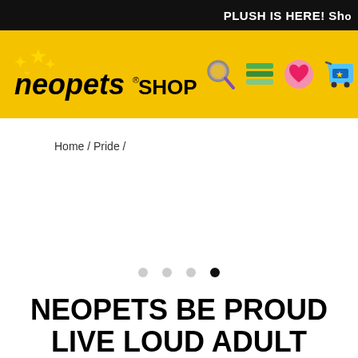PLUSH IS HERE! Sho
[Figure (logo): Neopets Shop logo with yellow star icons and 'neopets SHOP' text in black, plus navigation icons (search magnifier, menu, heart/wishlist, shopping cart) on a yellow background]
Home / Pride /
[Figure (other): Carousel indicator dots: three light grey dots and one filled black dot]
NEOPETS BE PROUD LIVE LOUD ADULT SHORT SLEEVE T-SHIRT